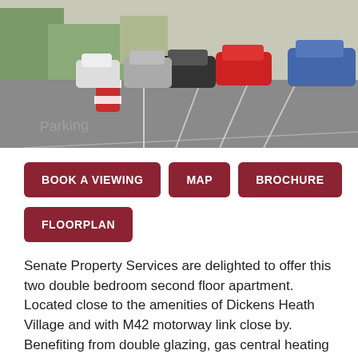[Figure (photo): Outdoor parking lot scene with cars parked on a street, road markings visible, trees and buildings in background. A red and white barrier/cone is visible on the left.]
BOOK A VIEWING
MAP
BROCHURE
FLOORPLAN
Senate Property Services are delighted to offer this two double bedroom second floor apartment. Located close to the amenities of Dickens Heath Village and with M42 motorway link close by. Benefiting from double glazing, gas central heating and comprising of secure communal entrance, communal staircase and lift to all floors, entrance, hallway, lounge/diner, fitted kitchen with integrated washing machine, electric oven, four ring gas hob